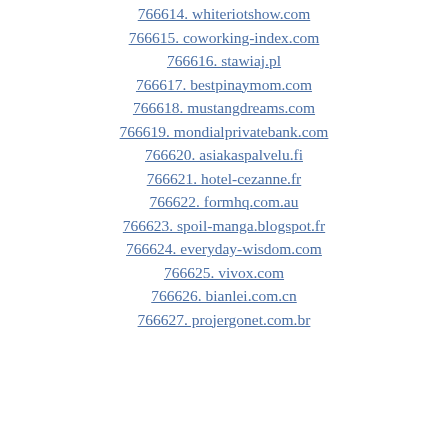766614. whiteriotshow.com
766615. coworking-index.com
766616. stawiaj.pl
766617. bestpinaymom.com
766618. mustangdreams.com
766619. mondialprivatebank.com
766620. asiakaspalvelu.fi
766621. hotel-cezanne.fr
766622. formhq.com.au
766623. spoil-manga.blogspot.fr
766624. everyday-wisdom.com
766625. vivox.com
766626. bianlei.com.cn
766627. projergonet.com.br